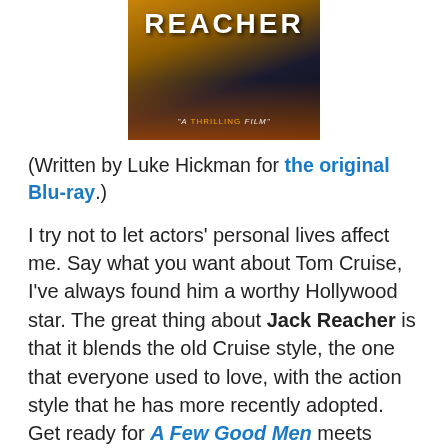[Figure (photo): Movie poster for Jack Reacher showing 'REACHER' text in large white letters at the top, a figure in dark clothing below, with the tagline 'A THRILLING FILM' at the bottom, warm orange and dark blue tones]
(Written by Luke Hickman for the original Blu-ray.)
I try not to let actors' personal lives affect me. Say what you want about Tom Cruise, I've always found him a worthy Hollywood star. The great thing about Jack Reacher is that it blends the old Cruise style, the one that everyone used to love, with the action style that he has more recently adopted. Get ready for A Few Good Men meets Ethan Hunt.
If you remember, Paramount canceled the Jack Reacher premiere in the wake of the Sandy Hook Elementary school shooting, presumably because of the movie's opening sequence - a drawn out and